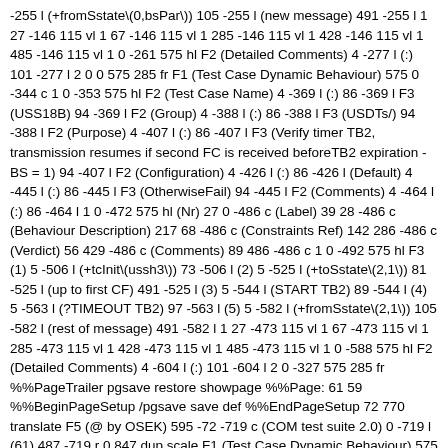-255 l (+fromSstate\(0,bsPar\)) 105 -255 l (new message) 491 -255 l 1 27 -146 115 vl 1 67 -146 115 vl 1 285 -146 115 vl 1 428 -146 115 vl 1 485 -146 115 vl 1 0 -261 575 hl F2 (Detailed Comments) 4 -277 l (:) 101 -277 l 2 0 0 575 285 fr F1 (Test Case Dynamic Behaviour) 575 0 -344 c 1 0 -353 575 hl F2 (Test Case Name) 4 -369 l (:) 86 -369 l F3 (USS18B) 94 -369 l F2 (Group) 4 -388 l (:) 86 -388 l F3 (USDTs/) 94 -388 l F2 (Purpose) 4 -407 l (:) 86 -407 l F3 (Verify timer TB2, transmission resumes if second FC is received beforeTB2 expiration - BS = 1) 94 -407 l F2 (Configuration) 4 -426 l (:) 86 -426 l (Default) 4 -445 l (:) 86 -445 l F3 (OtherwiseFail) 94 -445 l F2 (Comments) 4 -464 l (:) 86 -464 l 1 0 -472 575 hl (Nr) 27 0 -486 c (Label) 39 28 -486 c (Behaviour Description) 217 68 -486 c (Constraints Ref) 142 286 -486 c (Verdict) 56 429 -486 c (Comments) 89 486 -486 c 1 0 -492 575 hl F3 (1) 5 -506 l (+tcInit\(ussh3\)) 73 -506 l (2) 5 -525 l (+toSstate\(2,1\)) 81 -525 l (up to first CF) 491 -525 l (3) 5 -544 l (START TB2) 89 -544 l (4) 5 -563 l (?TIMEOUT TB2) 97 -563 l (5) 5 -582 l (+fromSstate\(2,1\)) 105 -582 l (rest of message) 491 -582 l 1 27 -473 115 vl 1 67 -473 115 vl 1 285 -473 115 vl 1 428 -473 115 vl 1 485 -473 115 vl 1 0 -588 575 hl F2 (Detailed Comments) 4 -604 l (:) 101 -604 l 2 0 -327 575 285 fr %%PageTrailer pgsave restore showpage %%Page: 61 59 %%BeginPageSetup /pgsave save def %%EndPageSetup 72 770 translate F5 (@ by OSEK) 595 -72 -719 c (COM test suite 2.0) 0 -719 l (61) 487 -719 r 0.847 dup scale F1 (Test Case Dynamic Behaviour) 575 0 -17 c 1 0 -26 575 hl F2